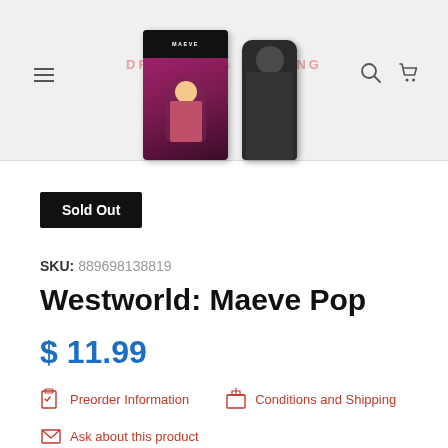DRAGONS TRADING — navigation header with hamburger menu, search, and cart icons
[Figure (photo): Product image showing Westworld Maeve Funko Pop vinyl figure box and figure on a light grey background]
Sold Out
SKU: 889698138819
Westworld: Maeve Pop
$ 11.99
Preorder Information
Conditions and Shipping
Ask about this product